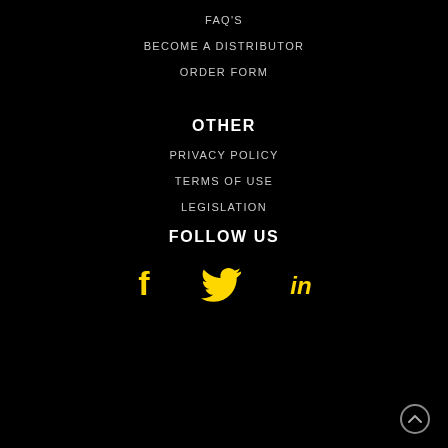FAQ's
BECOME A DISTRIBUTOR
ORDER FORM
OTHER
PRIVACY POLICY
TERMS OF USE
LEGISLATION
FOLLOW US
[Figure (illustration): Social media icons: Facebook (f), Twitter (bird), LinkedIn (in) in yellow/gold color]
[Figure (illustration): Scroll-to-top button arrow in bottom right corner]